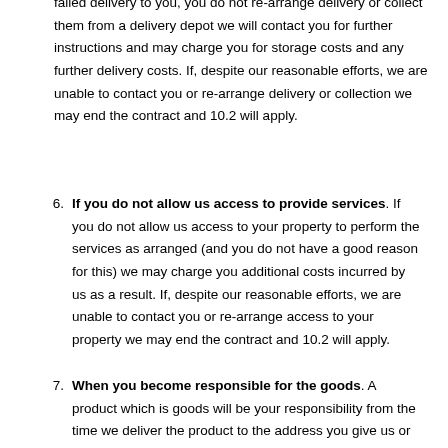failed delivery to you, you do not re-arrange delivery or collect them from a delivery depot we will contact you for further instructions and may charge you for storage costs and any further delivery costs. If, despite our reasonable efforts, we are unable to contact you or re-arrange delivery or collection we may end the contract and 10.2 will apply.
6. If you do not allow us access to provide services. If you do not allow us access to your property to perform the services as arranged (and you do not have a good reason for this) we may charge you additional costs incurred by us as a result. If, despite our reasonable efforts, we are unable to contact you or re-arrange access to your property we may end the contract and 10.2 will apply.
7. When you become responsible for the goods. A product which is goods will be your responsibility from the time we deliver the product to the address you give us or such as a carrier organised by you, collect it